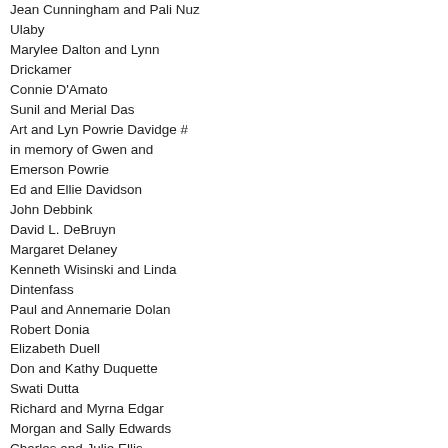Jean Cunningham and Pali Nuz Ulaby
Marylee Dalton and Lynn Drickamer
Connie D'Amato
Sunil and Merial Das
Art and Lyn Powrie Davidge # in memory of Gwen and Emerson Powrie
Ed and Ellie Davidson
John Debbink
David L. DeBruyn
Margaret Delaney
Kenneth Wisinski and Linda Dintenfass
Paul and Annemarie Dolan
Robert Donia
Elizabeth Duell
Don and Kathy Duquette
Swati Dutta
Richard and Myrna Edgar
Morgan and Sally Edwards
Charles and Julie Ellis
Thomas Fabiszewski